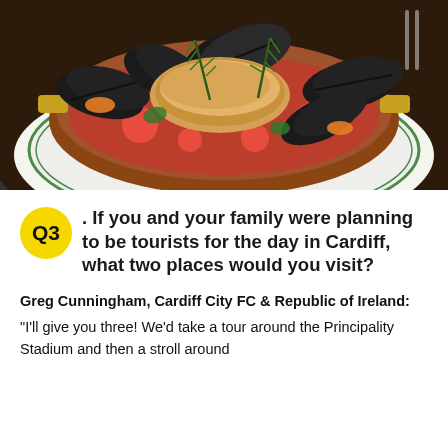[Figure (photo): A copper pan filled with mussels, tomatoes, fish and garnished with rosemary sprigs, served on a white plate with green trim]
Q3. If you and your family were planning to be tourists for the day in Cardiff, what two places would you visit?
Greg Cunningham, Cardiff City FC & Republic of Ireland: "I'll give you three! We'd take a tour around the Principality Stadium and then a stroll around